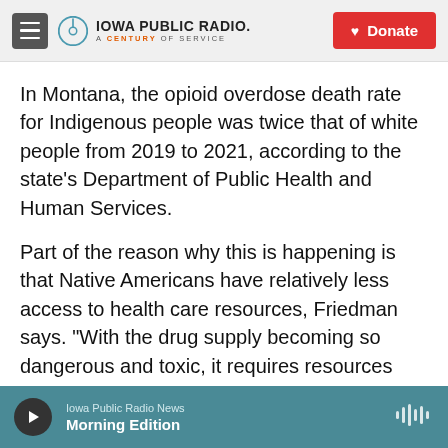Iowa Public Radio. A Century of Service. [Donate button]
In Montana, the opioid overdose death rate for Indigenous people was twice that of white people from 2019 to 2021, according to the state's Department of Public Health and Human Services.
Part of the reason why this is happening is that Native Americans have relatively less access to health care resources, Friedman says. "With the drug supply becoming so dangerous and toxic, it requires resources and knowledge and skills and funds [for people] to stay safe," he says. "It requires access to harm reduction, health care,
Iowa Public Radio News | Morning Edition